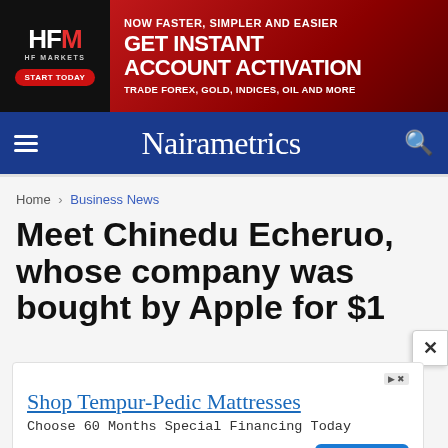[Figure (other): HF Markets banner advertisement: black left panel with HFM logo and START TODAY button; red right panel with text NOW FASTER, SIMPLER AND EASIER / GET INSTANT ACCOUNT ACTIVATION / TRADE FOREX, GOLD, INDICES, OIL AND MORE]
Nairametrics
Home > Business News
Meet Chinedu Echeruo, whose company was bought by Apple for $1
[Figure (other): Advertisement: Shop Tempur-Pedic Mattresses. Choose 60 Months Special Financing Today. Ashley. Open button.]